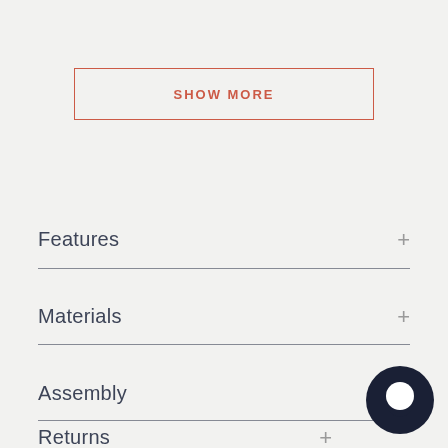SHOW MORE
Features +
Materials +
Assembly +
Returns +